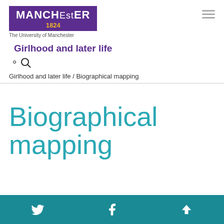[Figure (logo): University of Manchester logo: purple rectangle with MANCHESTER in white bold text and 1824 in gold, with tagline 'The University of Manchester' below]
Girlhood and later life
🔍
Girlhood and later life / Biographical mapping
Biographical mapping
Twitter | Facebook | Up arrow